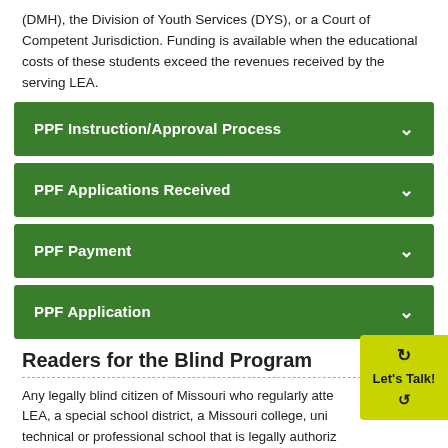(DMH), the Division of Youth Services (DYS), or a Court of Competent Jurisdiction. Funding is available when the educational costs of these students exceed the revenues received by the serving LEA.
PPF Instruction/Approval Process
PPF Applications Received
PPF Payment
PPF Application
Readers for the Blind Program
Any legally blind citizen of Missouri who regularly attends a public LEA, a special school district, a Missouri college, university, technical or professional school that is legally authorized to grant degrees, other than an institution established for the regular